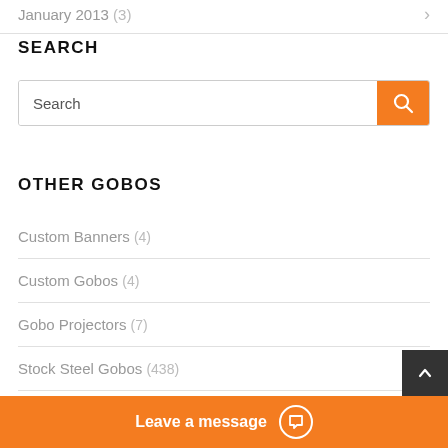January 2013 (3)
SEARCH
[Figure (other): Search input box with orange search button]
OTHER GOBOS
Custom Banners (4)
Custom Gobos (4)
Gobo Projectors (7)
Stock Steel Gobos (438)
Wedding Gobos (139)
Leave a message